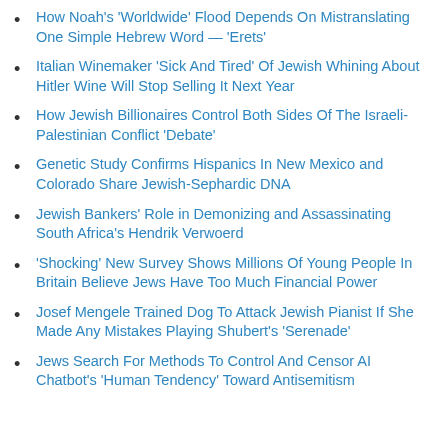How Noah's 'Worldwide' Flood Depends On Mistranslating One Simple Hebrew Word — 'Erets'
Italian Winemaker 'Sick And Tired' Of Jewish Whining About Hitler Wine Will Stop Selling It Next Year
How Jewish Billionaires Control Both Sides Of The Israeli-Palestinian Conflict 'Debate'
Genetic Study Confirms Hispanics In New Mexico and Colorado Share Jewish-Sephardic DNA
Jewish Bankers' Role in Demonizing and Assassinating South Africa's Hendrik Verwoerd
'Shocking' New Survey Shows Millions Of Young People In Britain Believe Jews Have Too Much Financial Power
Josef Mengele Trained Dog To Attack Jewish Pianist If She Made Any Mistakes Playing Shubert's 'Serenade'
Jews Search For Methods To Control And Censor AI Chatbot's 'Human Tendency' Toward Antisemitism